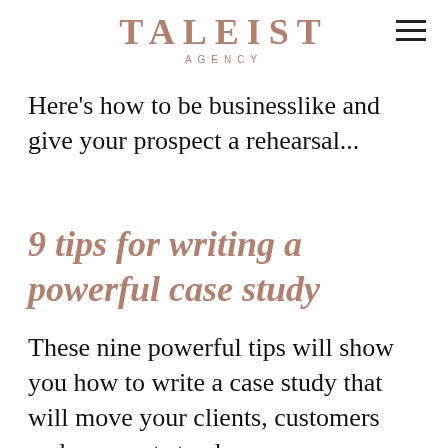TALEIST AGENCY
Here's how to be businesslike and give your prospect a rehearsal...
9 tips for writing a powerful case study
These nine powerful tips will show you how to write a case study that will move your clients, customers and prospects to choose you.